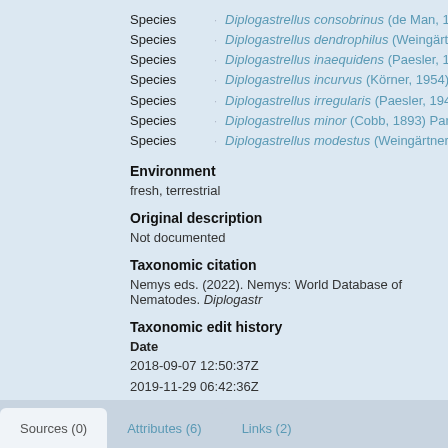Species Diplogastrellus consobrinus (de Man, 1920) Meyl, 1960 acc
Species Diplogastrellus dendrophilus (Weingärtner, 1955) Meyl, 196
Species Diplogastrellus inaequidens (Paesler, 1946) Paramonov, 19
Species Diplogastrellus incurvus (Körner, 1954) Goodey, 1963 accep
Species Diplogastrellus irregularis (Paesler, 1946) Paramonov, 1952
Species Diplogastrellus minor (Cobb, 1893) Paramonov, 1952 accep
Species Diplogastrellus modestus (Weingärtner, 1955) Andrássy, 19
Environment
fresh, terrestrial
Original description
Not documented
Taxonomic citation
Nemys eds. (2022). Nemys: World Database of Nematodes. Diplogastr
Taxonomic edit history
Date
2018-09-07 12:50:37Z
2019-11-29 06:42:36Z
[taxonomic tree]
Sources (0)   Attributes (6)   Links (2)